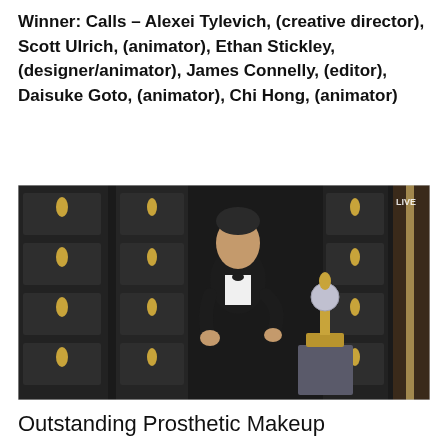Winner: Calls – Alexei Tylevich, (creative director), Scott Ulrich, (animator), Ethan Stickley, (designer/animator), James Connelly, (editor), Daisuke Goto, (animator), Chi Hong, (animator)
[Figure (photo): A man in a black tuxedo with a bow tie stands on a stage surrounded by walls displaying Emmy Award statuettes. He is gesturing with his hand. An Emmy Award trophy sits on a pedestal to his right. A 'LIVE' watermark is visible in the upper right corner.]
Outstanding Prosthetic Makeup